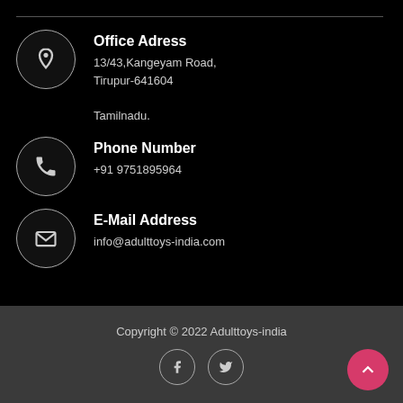Office Adress
13/43,Kangeyam Road,
Tirupur-641604

Tamilnadu.
Phone Number
+91 9751895964
E-Mail Address
info@adulttoys-india.com
Copyright © 2022 Adulttoys-india